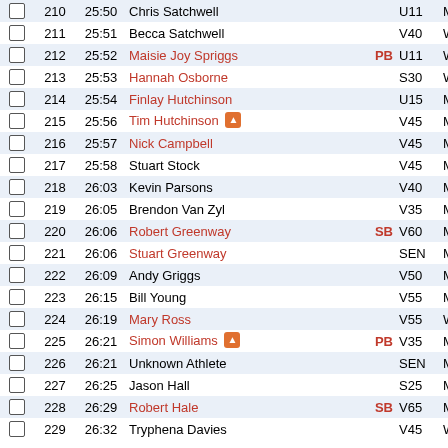|  | # | Time | Name | Badge | Cat | Gen |
| --- | --- | --- | --- | --- | --- | --- |
| ☐ | 210 | 25:50 | Chris Satchwell |  | U11 | M |
| ☐ | 211 | 25:51 | Becca Satchwell |  | V40 | W |
| ☐ | 212 | 25:52 | Maisie Joy Spriggs | PB | U11 | W |
| ☐ | 213 | 25:53 | Hannah Osborne |  | S30 | W |
| ☐ | 214 | 25:54 | Finlay Hutchinson |  | U15 | M |
| ☐ | 215 | 25:56 | Tim Hutchinson [vol] |  | V45 | M |
| ☐ | 216 | 25:57 | Nick Campbell |  | V45 | M |
| ☐ | 217 | 25:58 | Stuart Stock |  | V45 | M |
| ☐ | 218 | 26:03 | Kevin Parsons |  | V40 | M |
| ☐ | 219 | 26:05 | Brendon Van Zyl |  | V35 | M |
| ☐ | 220 | 26:06 | Robert Greenway | SB | V60 | M |
| ☐ | 221 | 26:06 | Stuart Greenway |  | SEN | M |
| ☐ | 222 | 26:09 | Andy Griggs |  | V50 | M |
| ☐ | 223 | 26:15 | Bill Young |  | V55 | M |
| ☐ | 224 | 26:19 | Mary Ross |  | V55 | W |
| ☐ | 225 | 26:21 | Simon Williams [vol] | PB | V35 | M |
| ☐ | 226 | 26:21 | Unknown Athlete |  | SEN | M |
| ☐ | 227 | 26:25 | Jason Hall |  | S25 | M |
| ☐ | 228 | 26:29 | Robert Hale | SB | V65 | M |
| ☐ | 229 | 26:32 | Tryphena Davies |  | V45 | W |